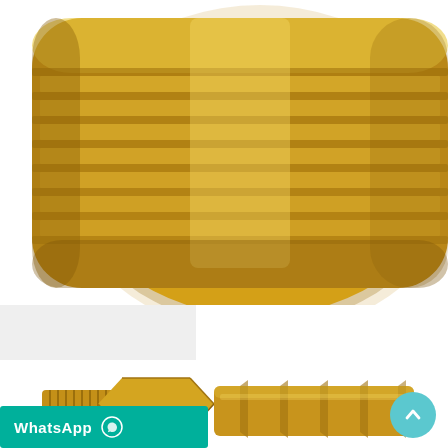[Figure (photo): Close-up photograph of a gold/brass threaded fitting or plug showing circular threaded grooves, top view, on white background]
[Figure (photo): No Photo placeholder thumbnail with image icon and 'No Photo' text, light grey background]
[Figure (photo): Photograph of a brass hose barb to male NPT adapter fitting, gold colored, showing hexagonal body, threaded end and barbed end, on white background]
WhatsApp
[Figure (other): Back to top arrow button, teal circle with upward chevron]